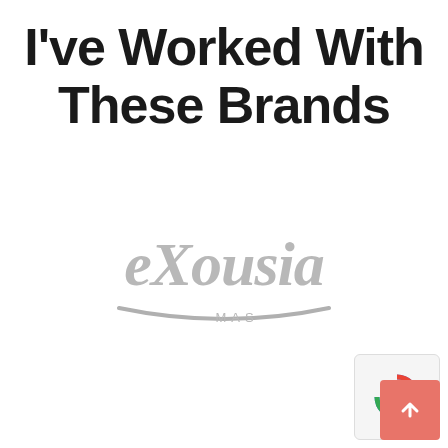I've Worked With These Brands
[Figure (logo): eXousia MAS brand logo in gray script lettering with underline arc and MAS subtitle]